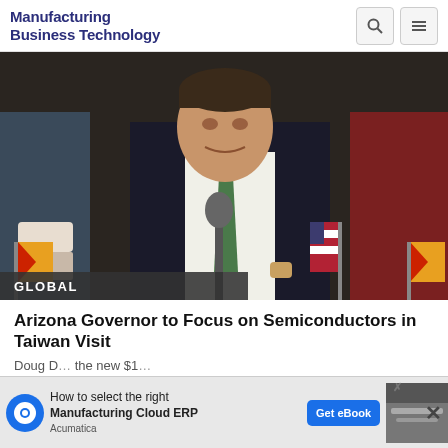Manufacturing Business Technology
[Figure (photo): Governor Doug Ducey speaking at a podium with microphone, wearing a dark suit and green tie, with Arizona and US flags visible. Caption overlay reads GLOBAL.]
GLOBAL
Arizona Governor to Focus on Semiconductors in Taiwan Visit
Doug D... the new $1...
[Figure (screenshot): Acumatica advertisement banner: How to select the right Manufacturing Cloud ERP. Get eBook button. Close X button.]